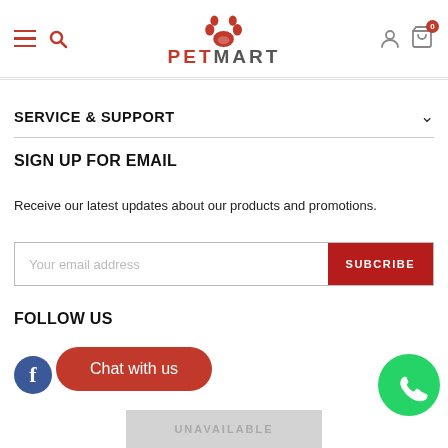PETMART
SERVICE & SUPPORT
SIGN UP FOR EMAIL
Receive our latest updates about our products and promotions.
Your email address
SUBCRIBE
FOLLOW US
Chat with us
UNAVAILABLE